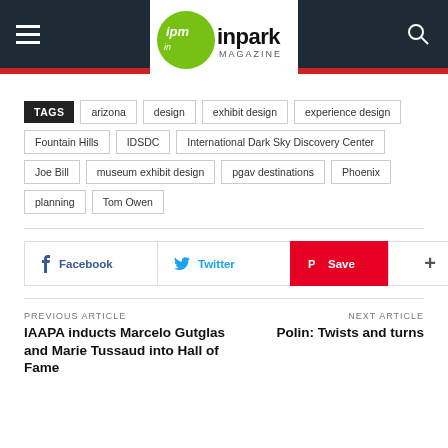ipm inpark MAGAZINE
TAGS: arizona, design, exhibit design, experience design, Fountain Hills, IDSDC, International Dark Sky Discovery Center, Joe Bill, museum exhibit design, pgav destinations, Phoenix, planning, Tom Owen
Facebook  Twitter  Save  +
PREVIOUS ARTICLE: IAAPA inducts Marcelo Gutglas and Marie Tussaud into Hall of Fame  |  NEXT ARTICLE: Polin: Twists and turns